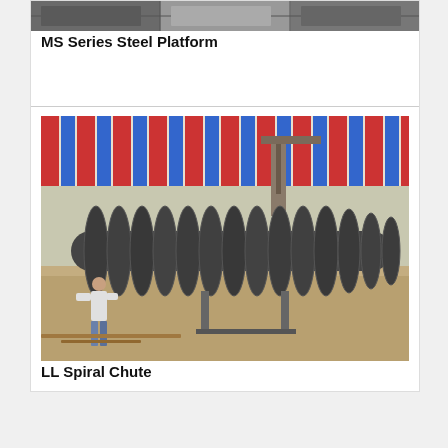[Figure (photo): MS Series Steel Platform - industrial steel platform structure shown from above/side]
MS Series Steel Platform
[Figure (photo): LL Spiral Chute - large industrial spiral chute with black segmented rings, worker standing beside it outdoors under striped canopy]
LL Spiral Chute